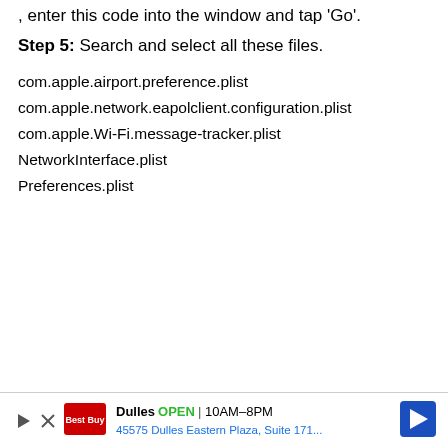, enter this code into the window and tap 'Go'.
Step 5: Search and select all these files.
com.apple.airport.preference.plist
com.apple.network.eapolclient.configuration.plist
com.apple.Wi-Fi.message-tracker.plist
NetworkInterface.plist
Preferences.plist
Dulles  OPEN | 10AM–8PM  45575 Dulles Eastern Plaza, Suite 171...